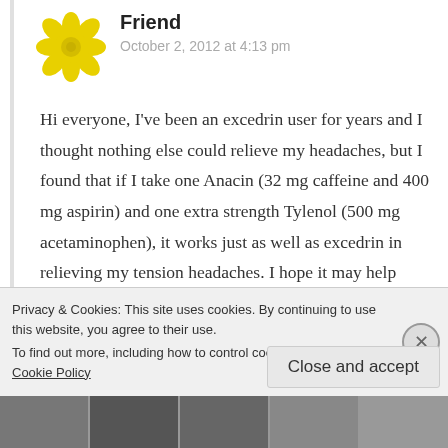[Figure (illustration): Yellow geometric flower/mandala avatar icon]
Friend
October 2, 2012 at 4:13 pm
Hi everyone, I've been an excedrin user for years and I thought nothing else could relieve my headaches, but I found that if I take one Anacin (32 mg caffeine and 400 mg aspirin) and one extra strength Tylenol (500 mg acetaminophen), it works just as well as excedrin in relieving my tension headaches. I hope it may help some of you with your pain as well.
Privacy & Cookies: This site uses cookies. By continuing to use this website, you agree to their use.
To find out more, including how to control cookies, see here: Cookie Policy
Close and accept